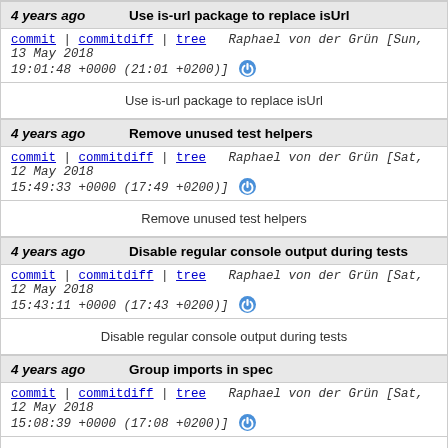4 years ago | Use is-url package to replace isUrl
commit | commitdiff | tree   Raphael von der Grün [Sun, 13 May 2018 19:01:48 +0000 (21:01 +0200)]
Use is-url package to replace isUrl
4 years ago | Remove unused test helpers
commit | commitdiff | tree   Raphael von der Grün [Sat, 12 May 2018 15:49:33 +0000 (17:49 +0200)]
Remove unused test helpers
4 years ago | Disable regular console output during tests
commit | commitdiff | tree   Raphael von der Grün [Sat, 12 May 2018 15:43:11 +0000 (17:43 +0200)]
Disable regular console output during tests
4 years ago | Group imports in spec
commit | commitdiff | tree   Raphael von der Grün [Sat, 12 May 2018 15:08:39 +0000 (17:08 +0200)]